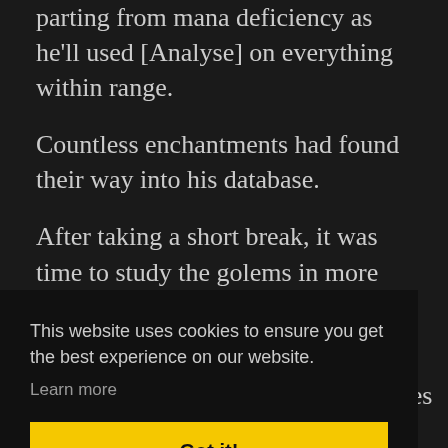parting from mana deficiency as he'll used [Analyse] on everything within range.
Countless enchantments had found their way into his database.
After taking a short break, it was time to study the golems in more detail.
“Can I study the golems?” He asked The
This website uses cookies to ensure you get the best experience on our website.
Learn more
Got it!
ke or
ered
. A
cone of blue light shone from his eyes and